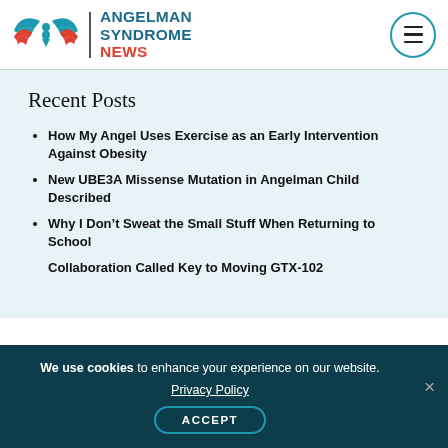Angelman Syndrome News
Recent Posts
How My Angel Uses Exercise as an Early Intervention Against Obesity
New UBE3A Missense Mutation in Angelman Child Described
Why I Don’t Sweat the Small Stuff When Returning to School
Collaboration Called Key to Moving GTX-102
We use cookies to enhance your experience on our website. Privacy Policy ACCEPT